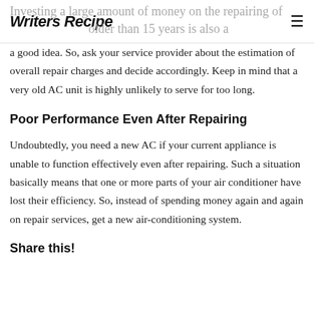Writers Recipe
Investing a large amount of money on the repairing of an air conditioner that is older than 15 years is also a good idea. So, ask your service provider about the estimation of overall repair charges and decide accordingly. Keep in mind that a very old AC unit is highly unlikely to serve for too long.
Poor Performance Even After Repairing
Undoubtedly, you need a new AC if your current appliance is unable to function effectively even after repairing. Such a situation basically means that one or more parts of your air conditioner have lost their efficiency. So, instead of spending money again and again on repair services, get a new air-conditioning system.
Share this!